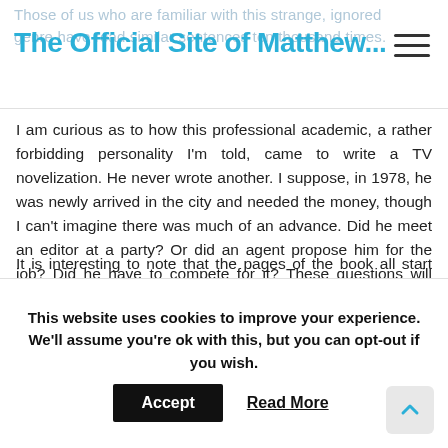The Official Site of Matthew...
I am curious as to how this professional academic, a rather forbidding personality I'm told, came to write a TV novelization. He never wrote another. I suppose, in 1978, he was newly arrived in the city and needed the money, though I can't imagine there was much of an advance. Did he meet an editor at a party? Or did an agent propose him for the job? Did he have to compete for it? These questions will have to remain unanswered.
The book now has that distinctive fragrance of all aging American paperbacks. The pages are browning and brittle. I wonder how many copies were sold? I can't imagine it was in shops for very long. It was scarcely less disposable than a newspaper.
It is interesting to note that the pages of the book all start first...
This website uses cookies to improve your experience. We'll assume you're ok with this, but you can opt-out if you wish.